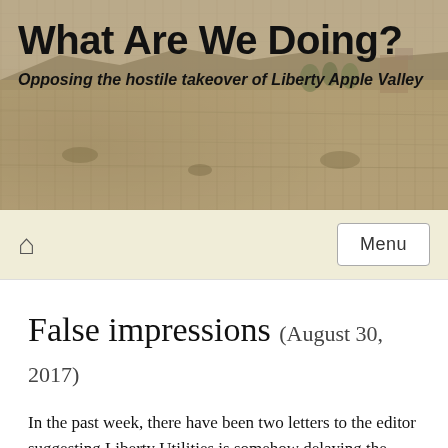[Figure (photo): Background photo of a dry desert landscape with sparse vegetation and buildings in the distance, used as the header banner background.]
What Are We Doing?
Opposing the hostile takeover of Liberty Apple Valley
Home  Menu
False impressions (August 30, 2017)
In the past week, there have been two letters to the editor suggesting Liberty Utilities is somehow delaying the eminent domain process. Obviously, the authors of these false impressions don't understand the process. False impressions are a tactic that has been coming from the town side for over two years now.